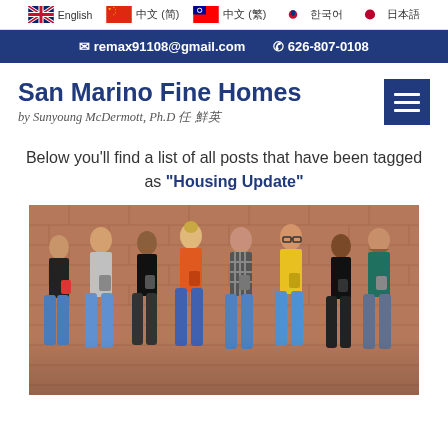English | 中文 (简) | 中文 (繁) | 한국어 | 日本語
✉ remax91108@gmail.com  ✆ 626-807-0108
San Marino Fine Homes
by Sunyoung McDermott, Ph.D 任 鲜英
Below you'll find a list of all posts that have been tagged as "Housing Update"
[Figure (photo): Group of young adults standing against a brick wall, all looking down at their smartphones. Diverse group of about 9 people wearing casual clothes.]